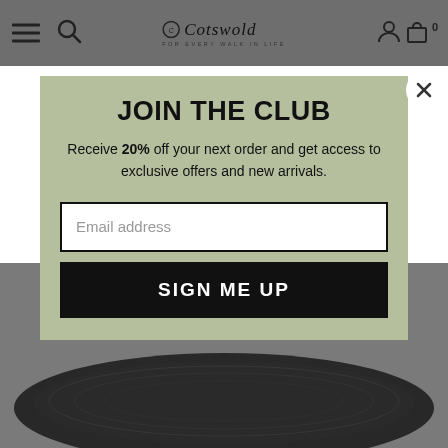Cotswold — FOR EVERY WALK IN LIFE (navigation bar with hamburger, search, logo, account, cart icons)
[Figure (screenshot): Cotswold outdoor retailer website screenshot showing a modal popup overlay on a product page with a dark shoe image visible in the background]
JOIN THE CLUB
Receive 20% off your next order and get access to exclusive offers and new arrivals.
Email address
SIGN ME UP